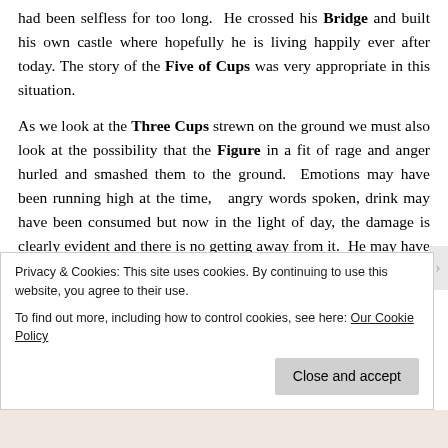had been selfless for too long. He crossed his Bridge and built his own castle where hopefully he is living happily ever after today. The story of the Five of Cups was very appropriate in this situation.
As we look at the Three Cups strewn on the ground we must also look at the possibility that the Figure in a fit of rage and anger hurled and smashed them to the ground. Emotions may have been running high at the time, angry words spoken, drink may have been consumed but now in the light of day, the damage is clearly evident and there is no getting away from it. He may have uncovered lies, deceit or infidelity and has
Privacy & Cookies: This site uses cookies. By continuing to use this website, you agree to their use.
To find out more, including how to control cookies, see here: Our Cookie Policy